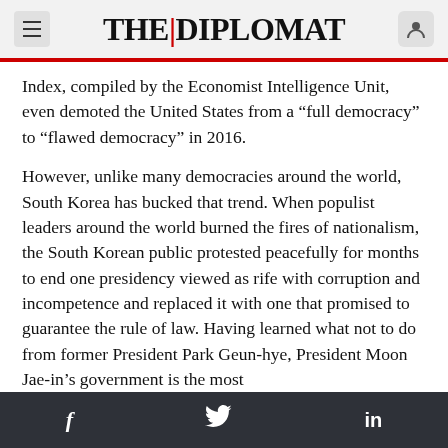THE DIPLOMAT
Index, compiled by the Economist Intelligence Unit, even demoted the United States from a “full democracy” to “flawed democracy” in 2016.
However, unlike many democracies around the world, South Korea has bucked that trend. When populist leaders around the world burned the fires of nationalism, the South Korean public protested peacefully for months to end one presidency viewed as rife with corruption and incompetence and replaced it with one that promised to guarantee the rule of law. Having learned what not to do from former President Park Geun-hye, President Moon Jae-in’s government is the most
f  🐦  in